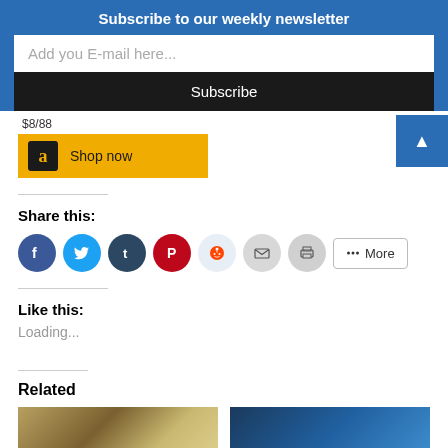Subscribe to our weekly newsletter
Add you E-mail here...
Subscribe
[Figure (other): Amazon price and Shop now button with Amazon logo on gold background]
Share this:
[Figure (infographic): Row of social share icon buttons: Facebook (blue circle), Twitter (light blue circle), Tumblr (dark blue circle), Pinterest (red circle), Reddit (pale blue circle), Email (gray circle), Print (gray circle), and a More button with share icon]
Like this:
Loading...
Related
[Figure (photo): Related article thumbnail image, warm tones, cityscape or building]
[Figure (photo): Related article thumbnail image, blue tones, hand holding something]